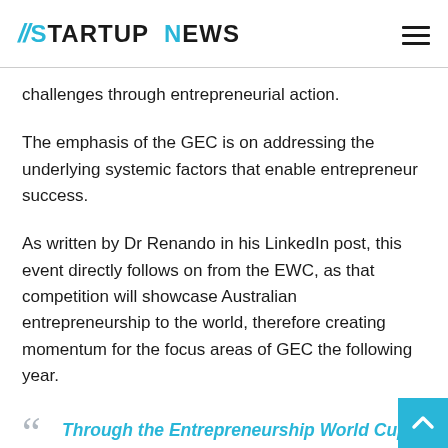//STARTUP NEWS
challenges through entrepreneurial action.
The emphasis of the GEC is on addressing the underlying systemic factors that enable entrepreneur success.
As written by Dr Renando in his LinkedIn post, this event directly follows on from the EWC, as that competition will showcase Australian entrepreneurship to the world, therefore creating momentum for the focus areas of GEC the following year.
Through the Entrepreneurship World Cup, we want to discover and highlight emerging innovative Australian firms making a difference in each of these areas. How many entries can we see in Food and Agriculture, Creative Industry...